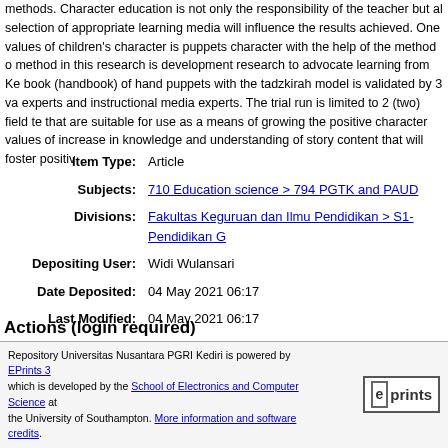methods. Character education is not only the responsibility of the teacher but also the selection of appropriate learning media will influence the results achieved. One of the values of children's character is puppets character with the help of the method of story. The method in this research is development research to advocate learning from Kemendikbud. The book (handbook) of hand puppets with the tadzkirah model is validated by 3 validators namely experts and instructional media experts. The trial run is limited to 2 (two) field tests. The results that are suitable for use as a means of growing the positive character values of children, an increase in knowledge and understanding of story content that will foster positive characters.
| Item Type: | Article |
| Subjects: | 710 Education science > 794 PGTK and PAUD |
| Divisions: | Fakultas Keguruan dan Ilmu Pendidikan > S1-Pendidikan G... |
| Depositing User: | Widi Wulansari |
| Date Deposited: | 04 May 2021 06:17 |
| Last Modified: | 04 May 2021 06:17 |
| URI: | http://repository.unpkediri.ac.id/id/eprint/3561 |
Actions (login required)
View Item
Repository Universitas Nusantara PGRI Kediri is powered by EPrints 3 which is developed by the School of Electronics and Computer Science at the University of Southampton. More information and software credits.